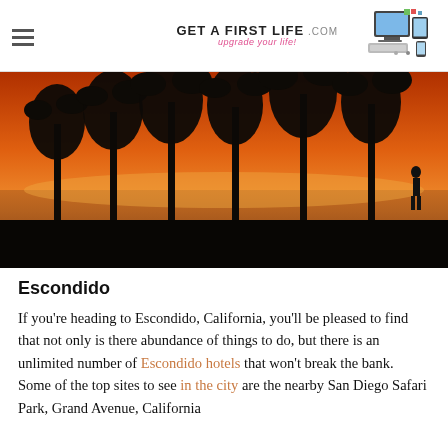GET A FIRST LIFE .com upgrade your life!
[Figure (photo): Silhouettes of palm trees against a vivid orange and red sunset sky reflecting on calm water, with a dark shoreline in the foreground.]
Escondido
If you're heading to Escondido, California, you'll be pleased to find that not only is there abundance of things to do, but there is an unlimited number of Escondido hotels that won't break the bank.  Some of the top sites to see in the city are the nearby San Diego Safari Park, Grand Avenue, California